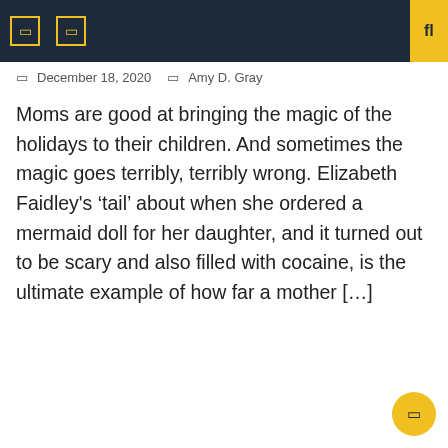□  □  fl
📅 December 18, 2020   👤 Amy D. Gray
Moms are good at bringing the magic of the holidays to their children. And sometimes the magic goes terribly, terribly wrong. Elizabeth Faidley's 'tail' about when she ordered a mermaid doll for her daughter, and it turned out to be scary and also filled with cocaine, is the ultimate example of how far a mother [...]
◀ Sex Doll...
Hot spo... ▶
Categories
Art doll
Baby doll
Bisque doll